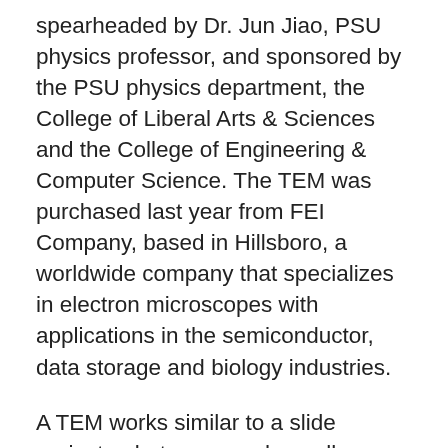spearheaded by Dr. Jun Jiao, PSU physics professor, and sponsored by the PSU physics department, the College of Liberal Arts & Sciences and the College of Engineering & Computer Science. The TEM was purchased last year from FEI Company, based in Hillsboro, a worldwide company that specializes in electron microscopes with applications in the semiconductor, data storage and biology industries.
A TEM works similar to a slide projector, but on a much smaller scale. In a slide projector, light is beamed through a slide and only some of the light goes through – other parts are blocked by the image itself. An enlarged slide image is eventually projected onto a screen.